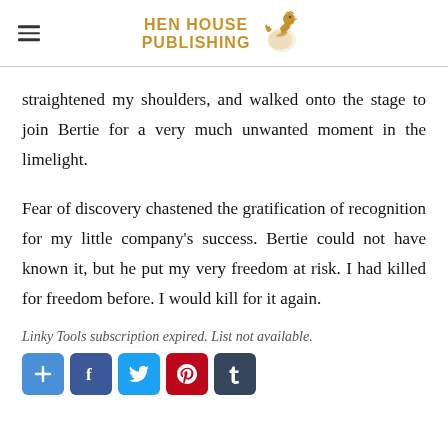HEN HOUSE PUBLISHING
straightened my shoulders, and walked onto the stage to join Bertie for a very much unwanted moment in the limelight.
Fear of discovery chastened the gratification of recognition for my little company's success. Bertie could not have known it, but he put my very freedom at risk. I had killed for freedom before. I would kill for it again.
Linky Tools subscription expired. List not available.